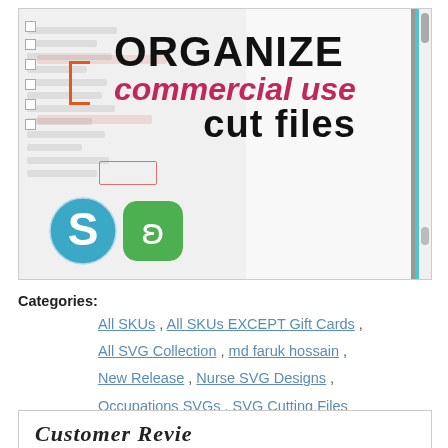[Figure (illustration): Product image showing 'ORGANIZE commercial use cut files' title with Silhouette and Sure Cuts A Lot app logos, overlaid on a screenshot background with orange bracket and scrollbar elements]
Categories: All SKUs , All SKUs EXCEPT Gift Cards , All SVG Collection , md faruk hossain , New Release , Nurse SVG Designs , Occupations SVGs , SVG Cutting Files
[Figure (other): Bottom card partially visible, beginning of 'Customer Reviews' section]